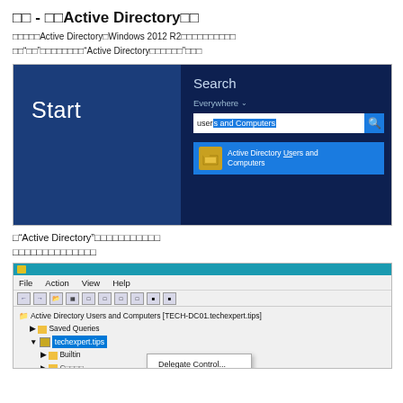NN - NNActive DirectoryNN
NNNNNActive DirectoryNWindows 2012 R2NNNNNNNNNNNN NN"NN"NNNNNNNNNN"Active DirectoryNNNNNN"NNN
[Figure (screenshot): Windows 8/Server 2012 R2 Start screen search showing search for 'users and Computers' with result 'Active Directory Users and Computers']
N"Active Directory"NNNNNNNNNNNN
NNNNNNNNNNNNNN
[Figure (screenshot): Active Directory Users and Computers MMC snap-in showing tree with techexpert.tips domain and context menu with 'Delegate Control...' option]